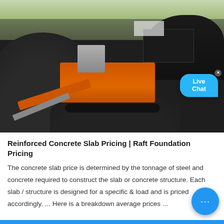[Figure (photo): Industrial aggregate crushing machine (orange heavy machinery) surrounded by large piles of dark gravel/aggregate material, outdoors with greenery visible in background. A Live Chat bubble is overlaid in the top-right area of the image.]
Reinforced Concrete Slab Pricing | Raft Foundation Pricing
The concrete slab price is determined by the tonnage of steel and concrete required to construct the slab or concrete structure. Each slab / structure is designed for a specific & load and is priced accordingly. ... Here is a breakdown average prices ...